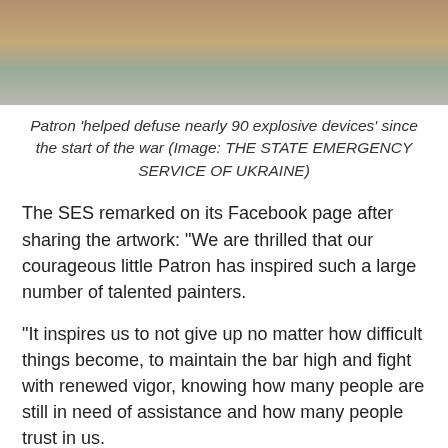[Figure (photo): Partial photo showing a dog and some equipment/objects outdoors, cropped at top of page]
Patron 'helped defuse nearly 90 explosive devices' since the start of the war (Image: THE STATE EMERGENCY SERVICE OF UKRAINE)
The SES remarked on its Facebook page after sharing the artwork: "We are thrilled that our courageous little Patron has inspired such a large number of talented painters.
"It inspires us to not give up no matter how difficult things become, to maintain the bar high and fight with renewed vigor, knowing how many people are still in need of assistance and how many people trust in us.
"Our Patron does not rest on his laurels and expresses his thanks to everybody.